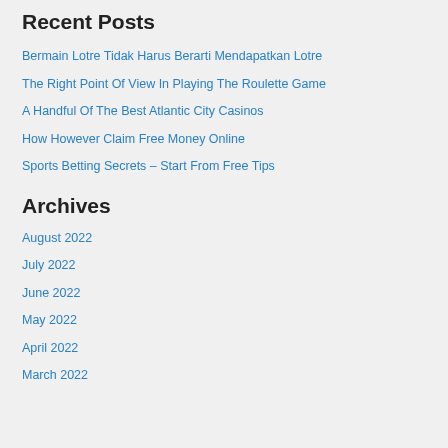Recent Posts
Bermain Lotre Tidak Harus Berarti Mendapatkan Lotre
The Right Point Of View In Playing The Roulette Game
A Handful Of The Best Atlantic City Casinos
How However Claim Free Money Online
Sports Betting Secrets – Start From Free Tips
Archives
August 2022
July 2022
June 2022
May 2022
April 2022
March 2022